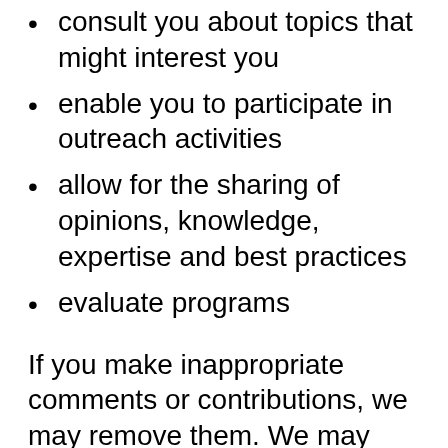consult you about topics that might interest you
enable you to participate in outreach activities
allow for the sharing of opinions, knowledge, expertise and best practices
evaluate programs
If you make inappropriate comments or contributions, we may remove them. We may also block you or report you to third party social media service providers if your comments or contributions violate the terms and conditions for interacting on social